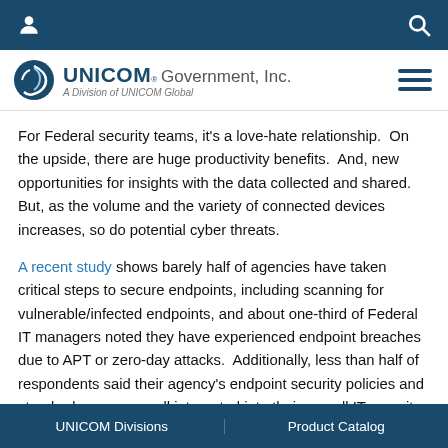UNICOM Government, Inc. — A Division of UNICOM Global
For Federal security teams, it's a love-hate relationship. On the upside, there are huge productivity benefits. And, new opportunities for insights with the data collected and shared. But, as the volume and the variety of connected devices increases, so do potential cyber threats.
A recent study shows barely half of agencies have taken critical steps to secure endpoints, including scanning for vulnerable/infected endpoints, and about one-third of Federal IT managers noted they have experienced endpoint breaches due to APT or zero-day attacks. Additionally, less than half of respondents said their agency's endpoint security policies and standards are very well integrated into their overall IT security strategy, so how can CIOs and CISOs manage these
UNICOM Divisions | Product Catalog